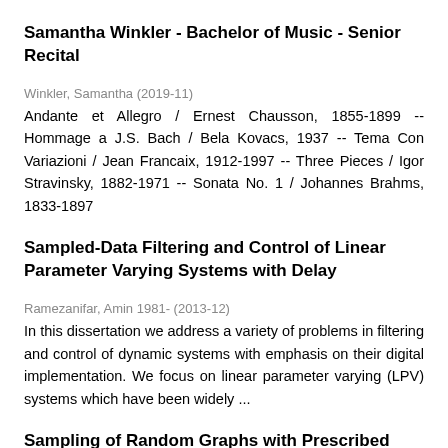Samantha Winkler - Bachelor of Music - Senior Recital
Winkler, Samantha (2019-11)
Andante et Allegro / Ernest Chausson, 1855-1899 -- Hommage a J.S. Bach / Bela Kovacs, 1937 -- Tema Con Variazioni / Jean Francaix, 1912-1997 -- Three Pieces / Igor Stravinsky, 1882-1971 -- Sonata No. 1 / Johannes Brahms, 1833-1897
Sampled-Data Filtering and Control of Linear Parameter Varying Systems with Delay
Ramezanifar, Amin 1981- (2013-12)
In this dissertation we address a variety of problems in filtering and control of dynamic systems with emphasis on their digital implementation. We focus on linear parameter varying (LPV) systems which have been widely ...
Sampling of Random Graphs with Prescribed Degree